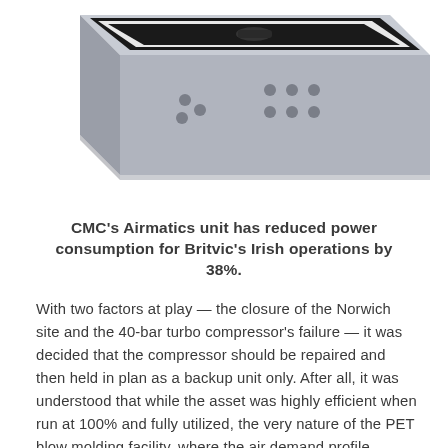[Figure (photo): A gray rectangular electronic control unit (CMC Airmatics device) photographed at an angle, showing its top surface with a black panel/screen and side panels with ventilation holes/ports arranged in groups.]
CMC's Airmatics unit has reduced power consumption for Britvic's Irish operations by 38%.
With two factors at play — the closure of the Norwich site and the 40-bar turbo compressor's failure — it was decided that the compressor should be repaired and then held in plan as a backup unit only. After all, it was understood that while the asset was highly efficient when run at 100% and fully utilized, the very nature of the PET blow molding facility, where the air demand profile rapidly changes from high to low, was leading to volatility when the